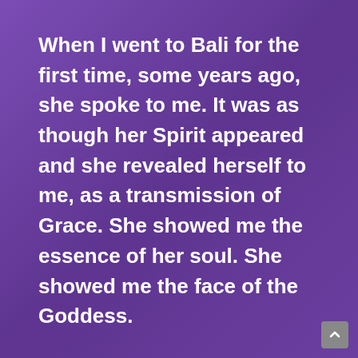When I went to Bali for the first time, some years ago, she spoke to me. It was as though her Spirit appeared and she revealed herself to me, as a transmission of Grace. She showed me the essence of her soul. She showed me the face of the Goddess.

My life was never the same again.

My cells literally restructured themselves.